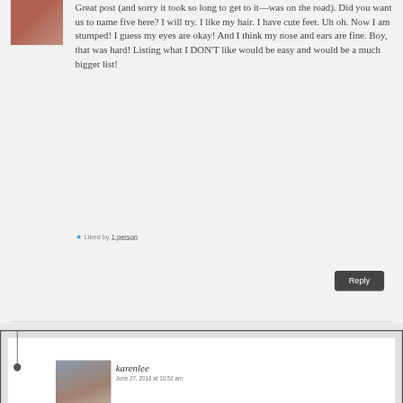[Figure (photo): Small avatar photo of a person at top left of comment]
Great post (and sorry it took so long to get to it—was on the road). Did you want us to name five here? I will try. I like my hair. I have cute feet. Uh oh. Now I am stumped! I guess my eyes are okay! And I think my nose and ears are fine. Boy, that was hard! Listing what I DON'T like would be easy and would be a much bigger list!
★ Liked by 1 person
Reply
[Figure (photo): Avatar photo of karenlee — woman at beach scene]
karenlee
June 27, 2016 at 10:52 am